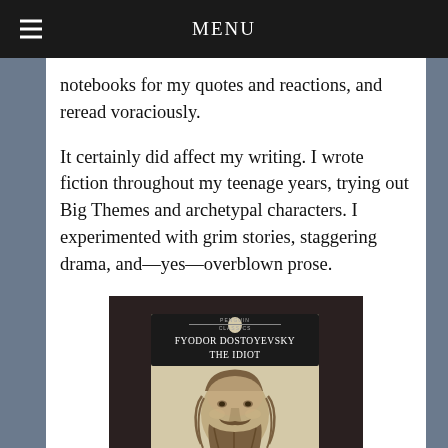MENU
notebooks for my quotes and reactions, and reread voraciously.
It certainly did affect my writing. I wrote fiction throughout my teenage years, trying out Big Themes and archetypal characters. I experimented with grim stories, staggering drama, and—yes—overblown prose.
[Figure (photo): Photo of a Penguin Classics edition of 'The Idiot' by Fyodor Dostoyevsky, showing the book cover with a portrait of a bearded man's face.]